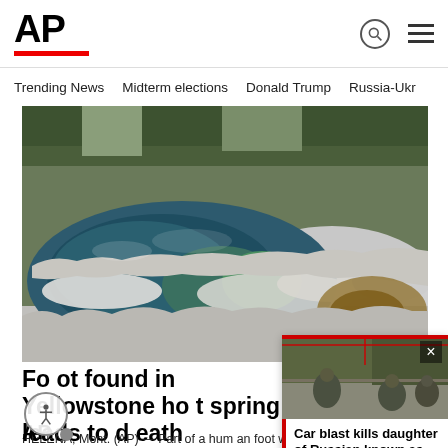AP
Trending News  Midterm elections  Donald Trump  Russia-Ukr
[Figure (photo): Aerial view of a Yellowstone hot spring with blue-green water surrounded by white mineral deposits and green trees in background]
Foot found in Yellowstone hot spring leads to death
HELENA, Mont. (AP) — Part of a human foot was found floating in a hot spring in Yellowstone N
[Figure (photo): Soldiers crouching on a roadside, small inset panel with car blast story teaser]
Car blast kills daughter of Russian known as 'Putin's ...
[Figure (other): AP logo at bottom left]